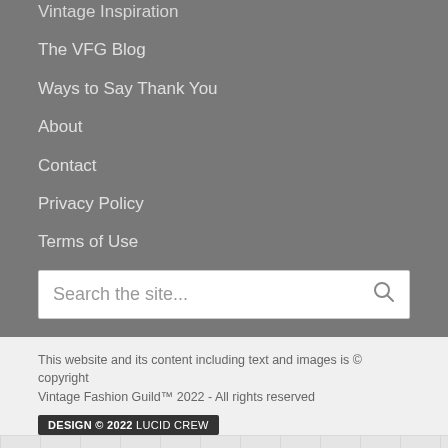Vintage Inspiration
The VFG Blog
Ways to Say Thank You
About
Contact
Privacy Policy
Terms of Use
Search the site...
This website and its content including text and images is © copyright Vintage Fashion Guild™ 2022 - All rights reserved
DESIGN © 2022 LUCID CREW
[Figure (logo): DMCA Protected badge with text 'PROTECTED BY' above large 'DMCA' text on black background]